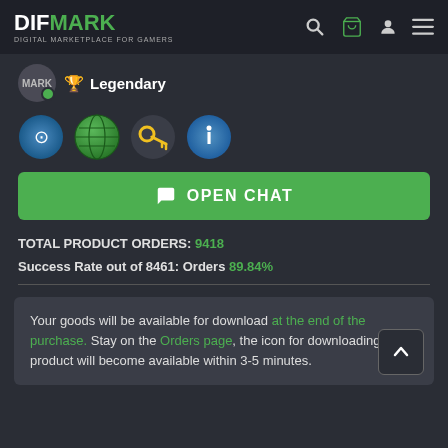DIFMARK - DIGITAL MARKETPLACE FOR GAMERS
Legendary
[Figure (infographic): Four circular icons: Steam logo, globe/earth, golden key, info bubble]
OPEN CHAT
TOTAL PRODUCT ORDERS: 9418
Success Rate out of 8461: Orders 89.84%
Your goods will be available for download at the end of the purchase. Stay on the Orders page, the icon for downloading your product will become available within 3-5 minutes.